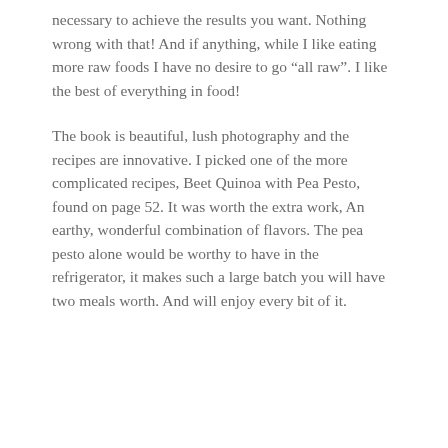necessary to achieve the results you want. Nothing wrong with that! And if anything, while I like eating more raw foods I have no desire to go “all raw”. I like the best of everything in food!
The book is beautiful, lush photography and the recipes are innovative. I picked one of the more complicated recipes, Beet Quinoa with Pea Pesto, found on page 52. It was worth the extra work, An earthy, wonderful combination of flavors. The pea pesto alone would be worthy to have in the refrigerator, it makes such a large batch you will have two meals worth. And will enjoy every bit of it.